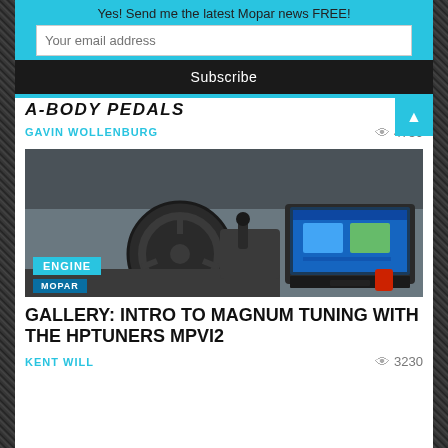Yes! Send me the latest Mopar news FREE!
Your email address
Subscribe
A-BODY PEDALS
GAVIN WOLLENBURG
4750
[Figure (photo): Car interior showing steering wheel and laptop on passenger seat displaying Windows screen, with a red buckle visible. ENGINE and MOPAR badges overlaid on image.]
GALLERY: INTRO TO MAGNUM TUNING WITH THE HPTUNERS MPVI2
KENT WILL
3230